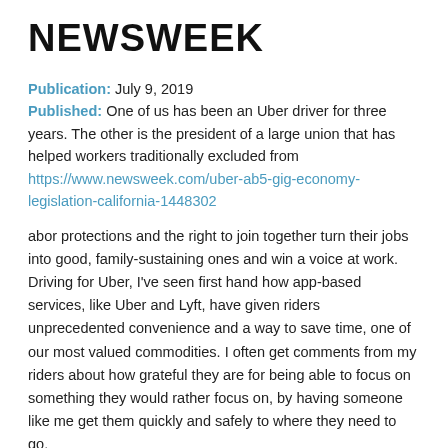NEWSWEEK
Publication: July 9, 2019
Published: One of us has been an Uber driver for three years. The other is the president of a large union that has helped workers traditionally excluded from
https://www.newsweek.com/uber-ab5-gig-economy-legislation-california-1448302
abor protections and the right to join together turn their jobs into good, family-sustaining ones and win a voice at work. Driving for Uber, I've seen first hand how app-based services, like Uber and Lyft, have given riders unprecedented convenience and a way to save time, one of our most valued commodities. I often get comments from my riders about how grateful they are for being able to focus on something they would rather focus on, by having someone like me get them quickly and safely to where they need to go.